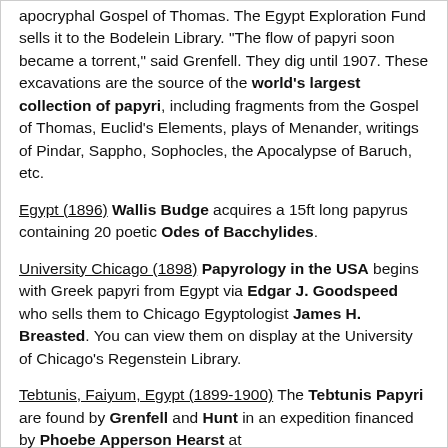apocryphal Gospel of Thomas. The Egypt Exploration Fund sells it to the Bodelein Library. "The flow of papyri soon became a torrent," said Grenfell. They dig until 1907. These excavations are the source of the world's largest collection of papyri, including fragments from the Gospel of Thomas, Euclid's Elements, plays of Menander, writings of Pindar, Sappho, Sophocles, the Apocalypse of Baruch, etc.
Egypt (1896) Wallis Budge acquires a 15ft long papyrus containing 20 poetic Odes of Bacchylides.
University Chicago (1898) Papyrology in the USA begins with Greek papyri from Egypt via Edgar J. Goodspeed who sells them to Chicago Egyptologist James H. Breasted. You can view them on display at the University of Chicago's Regenstein Library.
Tebtunis, Faiyum, Egypt (1899-1900) The Tebtunis Papyri are found by Grenfell and Hunt in an expedition financed by Phoebe Apperson Hearst at